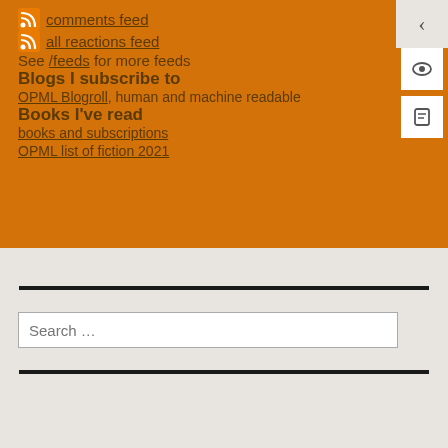comments feed
all reactions feed
See /feeds for more feeds
Blogs I subscribe to
OPML Blogroll, human and machine readable
Books I've read
books and subscriptions
OPML list of fiction 2021
Search …